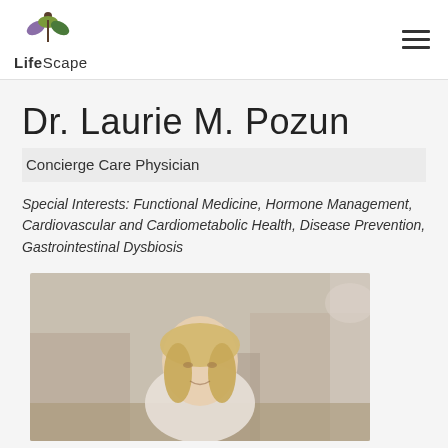[Figure (logo): LifeScape logo with stylized leaf/person icon above the text 'LifeScape']
Dr. Laurie M. Pozun
Concierge Care Physician
Special Interests: Functional Medicine, Hormone Management, Cardiovascular and Cardiometabolic Health, Disease Prevention, Gastrointestinal Dysbiosis
[Figure (photo): Portrait photo of Dr. Laurie M. Pozun, blonde woman outdoors with blurred building background]